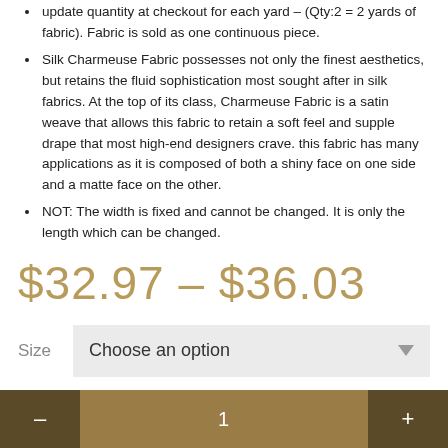update quantity at checkout for each yard – (Qty:2 = 2 yards of fabric). Fabric is sold as one continuous piece.
Silk Charmeuse Fabric possesses not only the finest aesthetics, but retains the fluid sophistication most sought after in silk fabrics. At the top of its class, Charmeuse Fabric is a satin weave that allows this fabric to retain a soft feel and supple drape that most high-end designers crave. this fabric has many applications as it is composed of both a shiny face on one side and a matte face on the other.
NOT: The width is fixed and cannot be changed. It is only the length which can be changed.
$32.97 – $36.03
Size   Choose an option
- 1 +